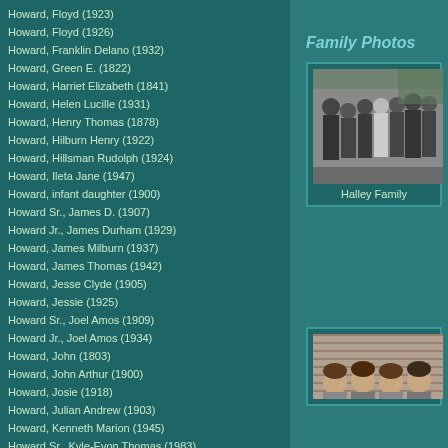Howard, Floyd (1923)
Howard, Floyd (1926)
Howard, Franklin Delano (1932)
Howard, Green E. (1822)
Howard, Harriet Elizabeth (1841)
Howard, Helen Lucille (1931)
Howard, Henry Thomas (1878)
Howard, Hilburn Henry (1922)
Howard, Hillsman Rudolph (1924)
Howard, Ileta Jane (1947)
Howard, infant daughter (1900)
Howard Sr., James D. (1907)
Howard Jr., James Durham (1929)
Howard, James Milburn (1937)
Howard, James Thomas (1942)
Howard, Jesse Clyde (1905)
Howard, Jessie (1925)
Howard Sr., Joel Amos (1909)
Howard Jr., Joel Amos (1934)
Howard, John (1803)
Howard, John Arthur (1900)
Howard, Josie (1918)
Howard, Julian Andrew (1903)
Howard, Kenneth Marion (1945)
Howard Sr., Kyle-Evon Thomas (1983)
Howard, Leon (1914)
Howard, Lillian (1914)
Howard, Loyd (1923)
Howard, Lucille (1912)
Howard, Mary Ann (1840)
Howard, Mary E. (1844)
Howard, Mary Jane (Daniel) (1898)
Howard, Mary 'Joni' Joan (1940)
Howard, Mattie Eula (1894)
Howard, Maudie (1917)
Howard, Milburn (1915)
Howard, Mildred (1912)
Howard, Minnie Lee (1885)
Howard, Minnie Lee (1889)
Howard, Patrick 'Pat' Gayle (1947)
Howard, Rena (1853)
Family Photos
[Figure (photo): Black and white group photo of the Halley Family, showing several people standing together outdoors]
Halley Family
[Figure (photo): Sepia/black and white photo of a group of children or young people]